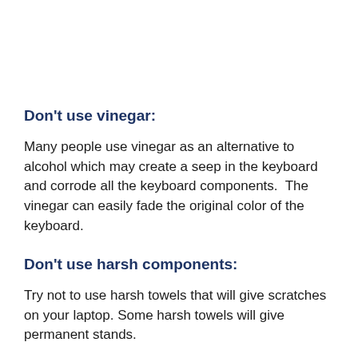Don't use vinegar:
Many people use vinegar as an alternative to alcohol which may create a seep in the keyboard and corrode all the keyboard components.  The vinegar can easily fade the original color of the keyboard.
Don't use harsh components:
Try not to use harsh towels that will give scratches on your laptop. Some harsh towels will give permanent stands.